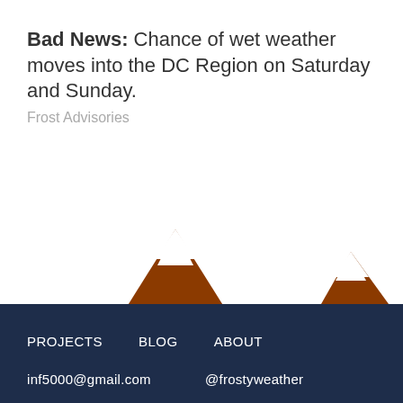Bad News: Chance of wet weather moves into the DC Region on Saturday and Sunday.
Frost Advisories
[Figure (illustration): Mountain range illustration with brown/rust-colored mountains and white snow caps on two peaks]
PROJECTS   BLOG   ABOUT   inf5000@gmail.com   @frostyweather